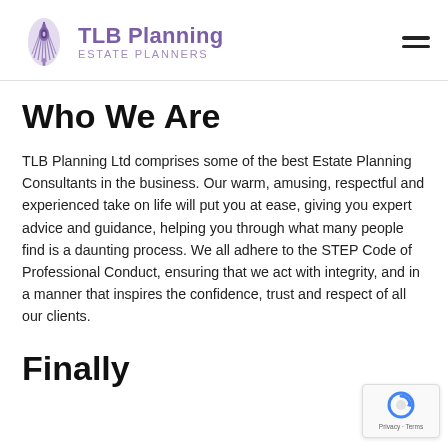TLB Planning Estate Planners
Who We Are
TLB Planning Ltd comprises some of the best Estate Planning Consultants in the business. Our warm, amusing, respectful and experienced take on life will put you at ease, giving you expert advice and guidance, helping you through what many people find is a daunting process. We all adhere to the STEP Code of Professional Conduct, ensuring that we act with integrity, and in a manner that inspires the confidence, trust and respect of all our clients.
Finally